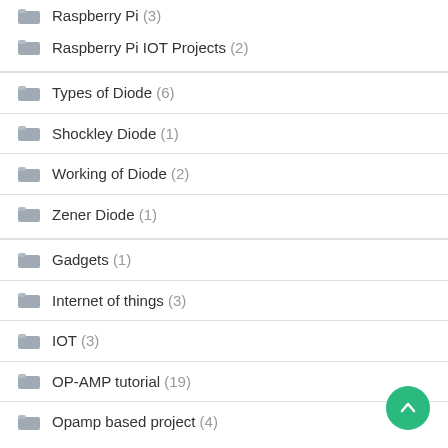Raspberry Pi (3)
Raspberry Pi IOT Projects (2)
Types of Diode (6)
Shockley Diode (1)
Working of Diode (2)
Zener Diode (1)
Gadgets (1)
Internet of things (3)
IOT (3)
OP-AMP tutorial (19)
Opamp based project (4)